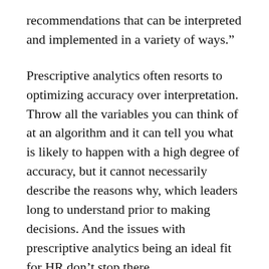recommendations that can be interpreted and implemented in a variety of ways.”
Prescriptive analytics often resorts to optimizing accuracy over interpretation. Throw all the variables you can think of at an algorithm and it can tell you what is likely to happen with a high degree of accuracy, but it cannot necessarily describe the reasons why, which leaders long to understand prior to making decisions. And the issues with prescriptive analytics being an ideal fit for HR don’t stop there.
“Going deeper down the prescriptive analytics rabbit hole, algorithms by themselves do not